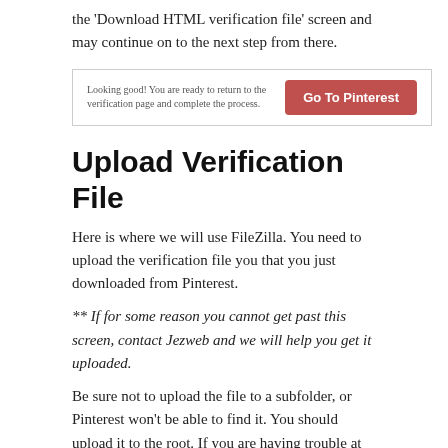the ‘Download HTML verification file’ screen and may continue on to the next step from there.
[Figure (screenshot): Screenshot showing a confirmation message 'Looking good! You are ready to return to the verification page and complete the process.' with a red 'Go To Pinterest' button on the right.]
Upload Verification File
Here is where we will use FileZilla. You need to upload the verification file you that you just downloaded from Pinterest.
** If for some reason you cannot get past this screen, contact Jezweb and we will help you get it uploaded.
Be sure not to upload the file to a subfolder, or Pinterest won’t be able to find it. You should upload it to the root.  If you are having trouble at this point, and you